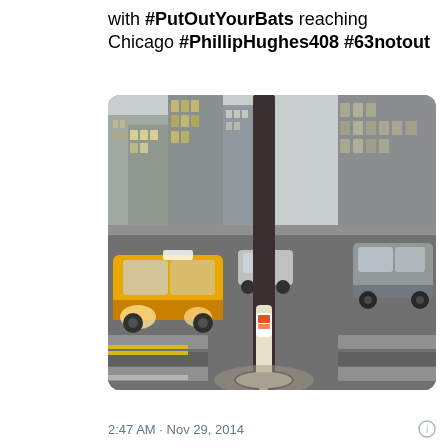with #PutOutYourBats reaching Chicago #PhillipHughes408 #63notout
[Figure (photo): A cricket bat leaning against a street lamp pole at a pedestrian crosswalk in Chicago. A yellow taxi cab is visible on the left side of the street, cars in the background, green traffic light, city buildings in the distance. The bat has a Puma logo and orange branding visible. The scene is a city street intersection with a crosswalk.]
2:47 AM · Nov 29, 2014